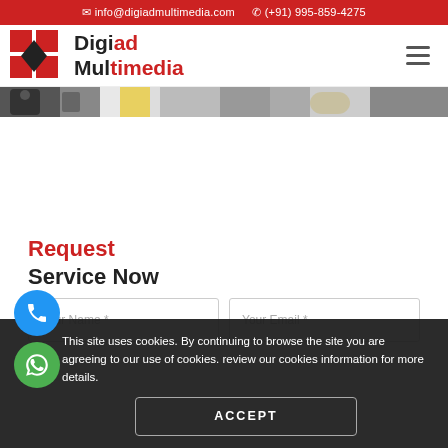✉ info@digiadmultimedia.com  ✆ (+91) 995-859-4275
[Figure (logo): Digiad Multimedia logo with red squares and diamond icon]
[Figure (photo): Hero image strip showing partial photo of people/scene]
Request
Service Now
Your Name *
Your Email *
This site uses cookies. By continuing to browse the site you are agreeing to our use of cookies. review our cookies information for more details.
ACCEPT